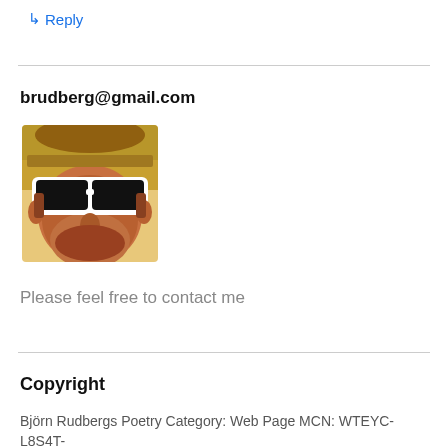↳ Reply
brudberg@gmail.com
[Figure (photo): Portrait photo of a man wearing white sunglasses and a hat, looking upward, with warm orange/brown tones.]
Please feel free to contact me
Copyright
Björn Rudbergs Poetry Category: Web Page MCN: WTEYC-L8S4T-